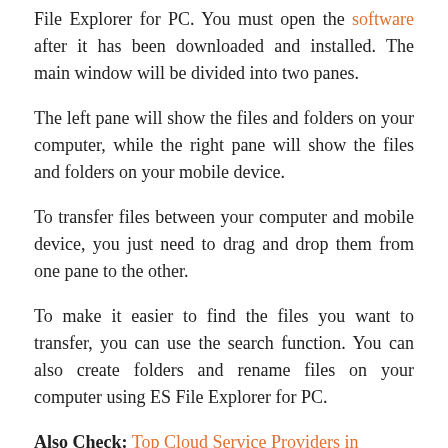File Explorer for PC. You must open the software after it has been downloaded and installed. The main window will be divided into two panes.
The left pane will show the files and folders on your computer, while the right pane will show the files and folders on your mobile device.
To transfer files between your computer and mobile device, you just need to drag and drop them from one pane to the other.
To make it easier to find the files you want to transfer, you can use the search function. You can also create folders and rename files on your computer using ES File Explorer for PC.
Also Check: Top Cloud Service Providers in